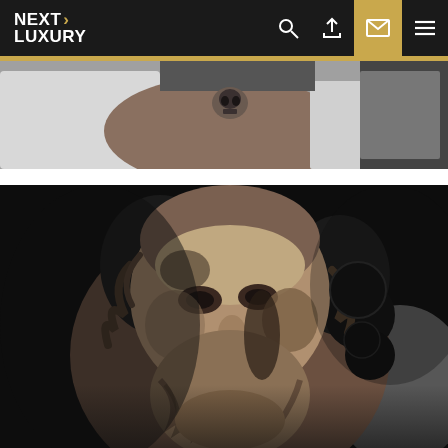NEXT LUXURY
[Figure (photo): Partial view of a tattoo on a person's back/shoulder area, black and white photo showing a small skull tattoo detail]
[Figure (photo): Large detailed black and grey realism tattoo on a person's upper arm/shoulder depicting a bearded male face resembling a classical Greek/Roman statue (Zeus or similar deity), with ornate decorative elements surrounding the face]